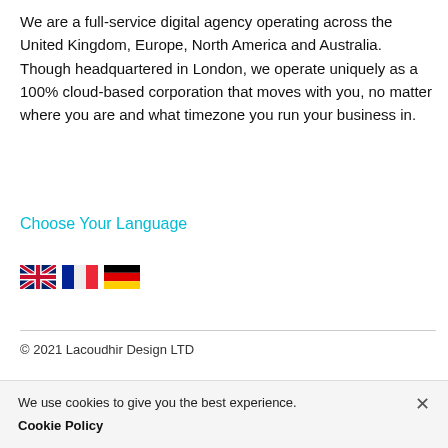We are a full-service digital agency operating across the United Kingdom, Europe, North America and Australia. Though headquartered in London, we operate uniquely as a 100% cloud-based corporation that moves with you, no matter where you are and what timezone you run your business in.
Choose Your Language
[Figure (illustration): Three country flag icons: UK flag, French flag, German flag]
© 2021 Lacoudhir Design LTD
We use cookies to give you the best experience.
Cookie Policy